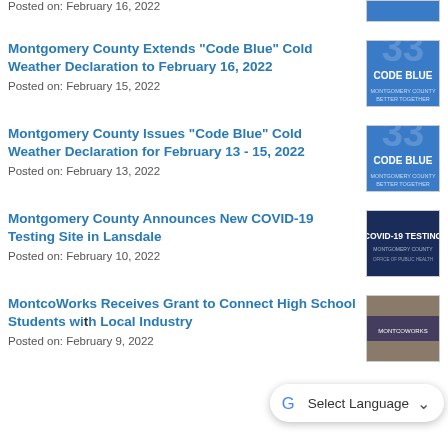Posted on: February 16, 2022
Montgomery County Extends “Code Blue” Cold Weather Declaration to February 16, 2022
Posted on: February 15, 2022
Montgomery County Issues “Code Blue” Cold Weather Declaration for February 13 - 15, 2022
Posted on: February 13, 2022
Montgomery County Announces New COVID-19 Testing Site in Lansdale
Posted on: February 10, 2022
MontcoWorks Receives Grant to Connect High School Students with Local Industry
Posted on: February 9, 2022